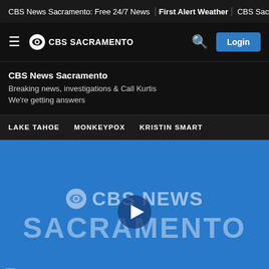CBS News Sacramento: Free 24/7 News | First Alert Weather | CBS Sacr
[Figure (screenshot): CBS Sacramento navigation bar with hamburger menu, CBS eye logo, CBS SACRAMENTO text, search icon, and Login button]
CBS News Sacramento
Breaking news, investigations & Call Kurtis
We're getting answers
LAKE TAHOE   MONKEYPOX   KRISTIN SMART
[Figure (screenshot): CBS News Sacramento video player thumbnail showing CBS NEWS SACRAMENTO logo on blue background with a play button in the center]